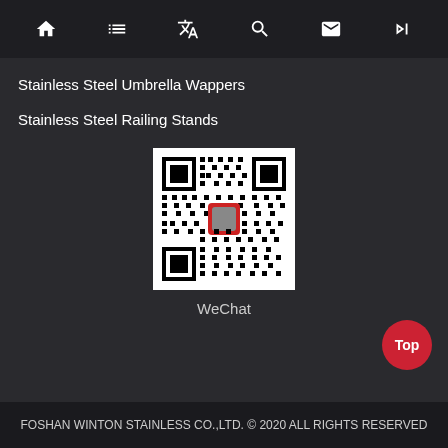Navigation icons: home, list, translate, search, mail, skip
Stainless Steel Umbrella Wappers
Stainless Steel Railing Stands
[Figure (other): WeChat QR code with a small profile photo in the center]
WeChat
FOSHAN WINTON STAINLESS CO.,LTD. © 2020 ALL RIGHTS RESERVED